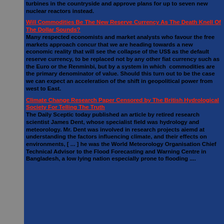turbines in the countryside and approve plans for up to seven new nuclear reactors instead.
Will Commodities Be The New Reserve Currency As The Death Knell Of The Dollar Sounds?
Many respected economists and market analysts who favour the free markets approach concur that we are heading towards a new economic reality that will see the collapse of the US$ as the default reserve currency, to be replaced not by any other fiat currency such as the Euro or the Renminbi, but by a system in which commodities are the primary denominator of value. Should this turn out to be the case we can expect an acceleration of the shift in geopolitical power from west to East.
Climate Change Research Paper Censored by The British Hydrological Society For Telling The Truth
The Daily Sceptic today published an article by retired research scientist James Dent, whose specialist field was hydrology and meteorology. Mr. Dent was involved in research projects aiemd at understanding the factors influencing climate, and their effects on environments, [ ... ] he was the World Meteorology Organisation Chief Technical Advisor to the Flood Forecasting and Warning Centre in Bangladesh, a low lying nation especially prone to flooding ....